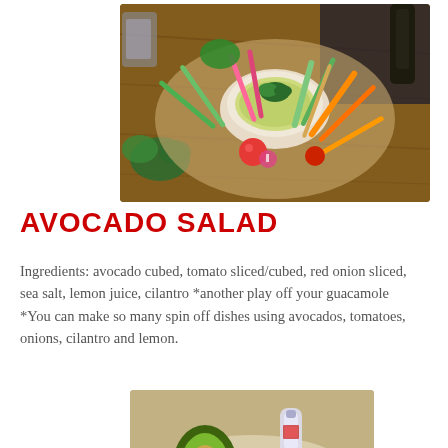[Figure (photo): Food platter with a bowl of avocado dip/guacamole surrounded by vegetable sticks (celery, carrots, radishes, cucumber), crackers, cherry tomatoes, and herbs on a wooden cutting board]
AVOCADO SALAD
Ingredients: avocado cubed, tomato sliced/cubed, red onion sliced, sea salt, lemon juice, cilantro *another play off your guacamole   *You can make so many spin off dishes using avocados, tomatoes, onions, cilantro and lemon.
[Figure (photo): Avocado salad dish with half avocado, red onions, cilantro, and a small salt shaker on a yellow surface]